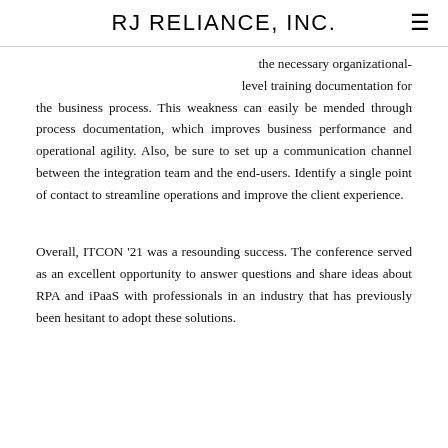RJ RELIANCE, INC.
the necessary organizational-level training documentation for the business process. This weakness can easily be mended through process documentation, which improves business performance and operational agility. Also, be sure to set up a communication channel between the integration team and the end-users. Identify a single point of contact to streamline operations and improve the client experience.
Overall, ITCON '21 was a resounding success. The conference served as an excellent opportunity to answer questions and share ideas about RPA and iPaaS with professionals in an industry that has previously been hesitant to adopt these solutions.